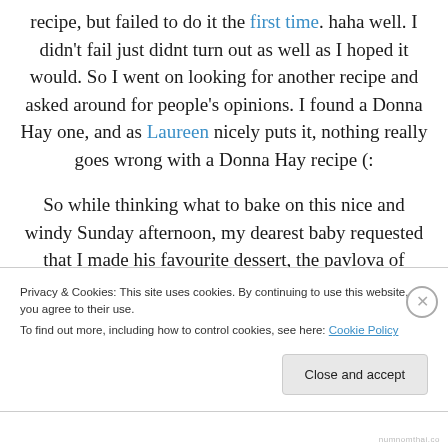recipe, but failed to do it the first time. haha well. I didn't fail just didnt turn out as well as I hoped it would. So I went on looking for another recipe and asked around for people's opinions. I found a Donna Hay one, and as Laureen nicely puts it, nothing really goes wrong with a Donna Hay recipe (:
So while thinking what to bake on this nice and windy Sunday afternoon, my dearest baby requested that I made his favourite dessert, the pavlova of course. And how can I say no? hehe luckily, I have a stocked up pantry and I
Privacy & Cookies: This site uses cookies. By continuing to use this website, you agree to their use.
To find out more, including how to control cookies, see here: Cookie Policy
Close and accept
numnomthai.co